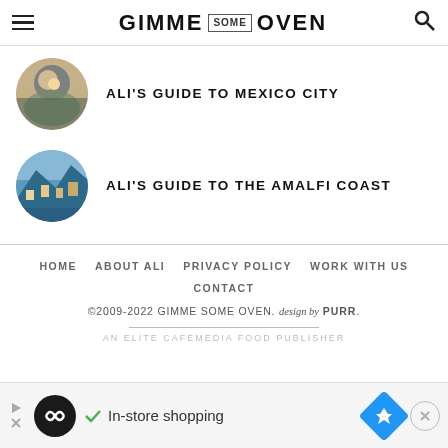GIMME SOME OVEN
ALI'S GUIDE TO MEXICO CITY
ALI'S GUIDE TO THE AMALFI COAST
HOME   ABOUT ALI   PRIVACY POLICY   WORK WITH US   CONTACT
©2009-2022 GIMME SOME OVEN. design by PURR.
AN ELITE CAFEMEDIA FOOD PUBLISHER
[Figure (infographic): Advertisement banner: In-store shopping ad with circular logo, checkmark, navigation icon, and close button]